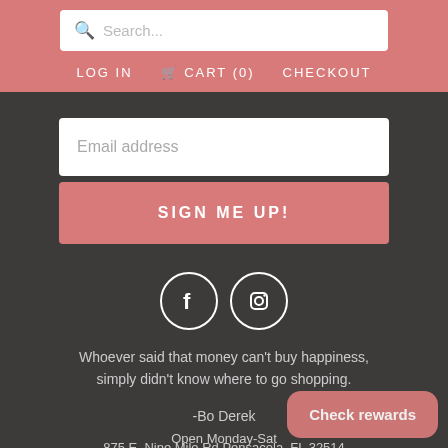Search...  LOG IN  CART (0)  CHECKOUT
Email address
SIGN ME UP!
[Figure (illustration): Facebook and Instagram social media icons as white outlined circles with F and camera icons respectively]
Whoever said that money can't buy happiness, simply didn't know where to go shopping.
-Bo Derek
875 E. Nine Mile Rd Pensacola, FL 32514
Open Monday-Sat
Check rewards